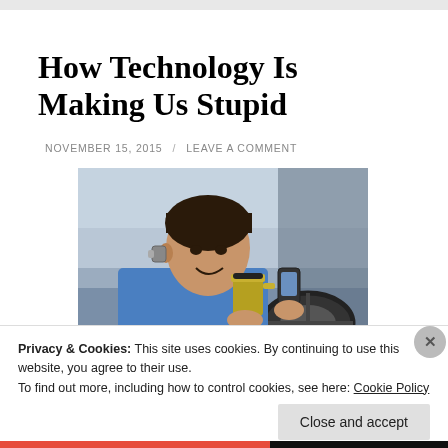How Technology Is Making Us Stupid
NOVEMBER 15, 2015 / LEAVE A COMMENT
[Figure (photo): A man sitting in a car driver's seat, wearing a Bluetooth earpiece, holding a coffee cup in one hand and a mobile phone in the other hand while driving.]
Privacy & Cookies: This site uses cookies. By continuing to use this website, you agree to their use.
To find out more, including how to control cookies, see here: Cookie Policy
Close and accept